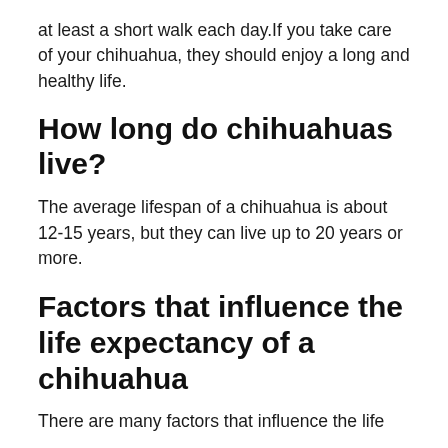at least a short walk each day.If you take care of your chihuahua, they should enjoy a long and healthy life.
How long do chihuahuas live?
The average lifespan of a chihuahua is about 12-15 years, but they can live up to 20 years or more.
Factors that influence the life expectancy of a chihuahua
There are many factors that influence the life